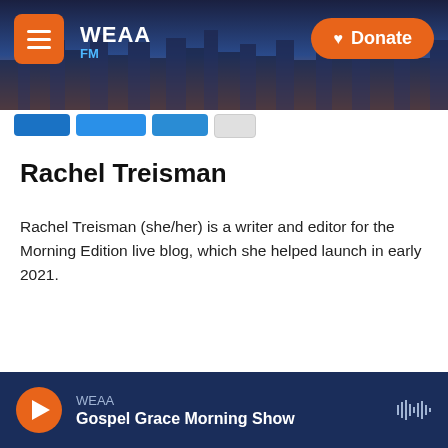[Figure (screenshot): WEAA radio website header banner with city skyline background, hamburger menu button, WEAA logo, and orange Donate button]
Rachel Treisman
Rachel Treisman (she/her) is a writer and editor for the Morning Edition live blog, which she helped launch in early 2021.
[Figure (screenshot): WEAA audio player footer bar with orange play button, station name WEAA, show title Gospel Grace Morning Show, and waveform icon]